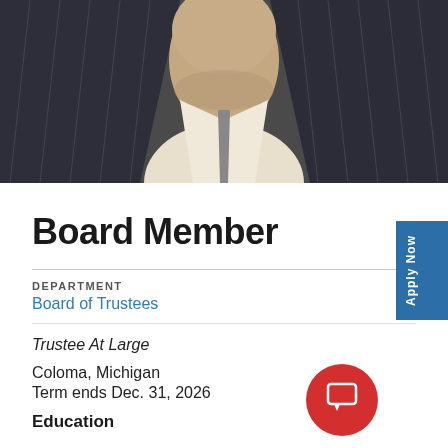[Figure (photo): Cropped photo of a person showing neck and upper torso in a dark pinstripe suit with a light-colored shirt]
Board Member
DEPARTMENT
Board of Trustees
Trustee At Large
Coloma, Michigan
Term ends Dec. 31, 2026
Education